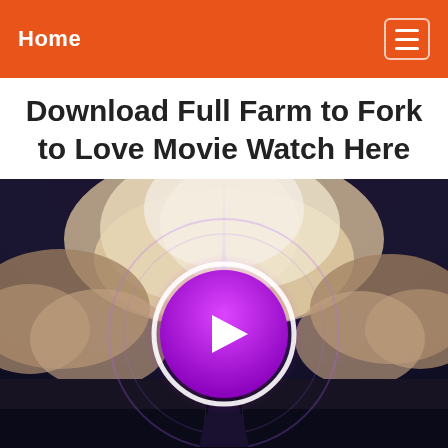Home
Download Full Farm to Fork to Love Movie Watch Here
[Figure (screenshot): Video thumbnail showing a dramatic sky with large clouds and a play button overlay. A purple circle with a white play triangle is centered on the image, with a glowing purple ring around it. Below the clouds is a figure standing on a pedestal.]